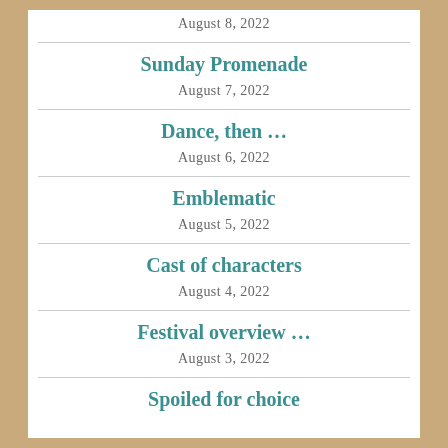August 8, 2022
Sunday Promenade
August 7, 2022
Dance, then …
August 6, 2022
Emblematic
August 5, 2022
Cast of characters
August 4, 2022
Festival overview …
August 3, 2022
Spoiled for choice